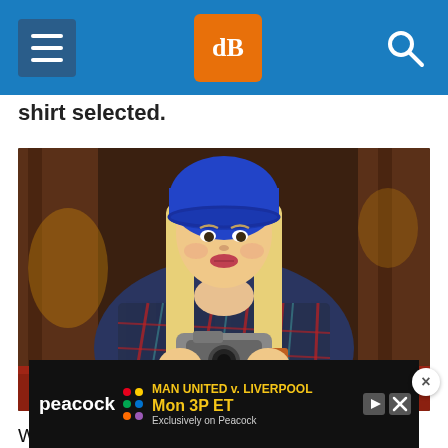dPS navigation bar
shirt selected.
[Figure (photo): Young blonde woman wearing a blue beanie hat and plaid flannel shirt, holding a vintage camera, standing in front of a dark wooden building exterior]
With a selection active, you can create a Hue an
[Figure (infographic): Peacock advertisement: MAN UNITED v. LIVERPOOL Mon 3P ET Exclusively on Peacock]